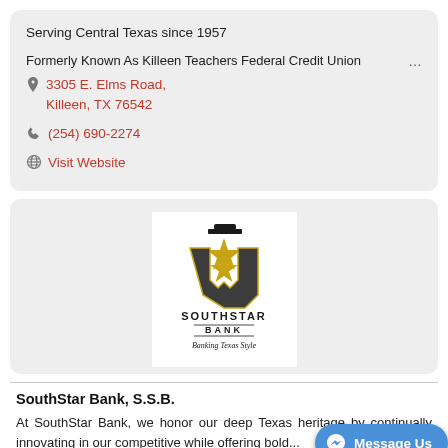Serving Central Texas since 1957
Formerly Known As Killeen Teachers Federal Credit Union
3305 E. Elms Road, Killeen, TX 76542
(254) 690-2274
Visit Website
[Figure (logo): SouthStar Bank logo with star and Texas outline, gold and black colors, tagline 'Banking Texas Style']
SouthStar Bank, S.S.B.
At SouthStar Bank, we honor our deep Texas heritage by continually innovating in our competitive while offering bold...